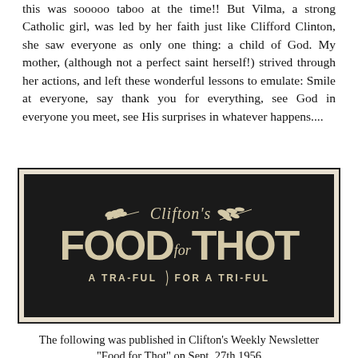this was sooooo taboo at the time!! But Vilma, a strong Catholic girl, was led by her faith just like Clifford Clinton, she saw everyone as only one thing: a child of God. My mother, (although not a perfect saint herself!) strived through her actions, and left these wonderful lessons to emulate: Smile at everyone, say thank you for everything, see God in everyone you meet, see His surprises in whatever happens....
[Figure (illustration): Clifton's Food for Thot sign — a dark/black rectangular sign with cream/tan lettering. Top has wheat branch decorations flanking 'Clifton's' in italic script with a bird/fish decoration. Large bold letters read 'FOOD for THOT'. Below reads 'A TRA-FUL / FOR A TRI-FUL'.]
The following was published in Clifton's Weekly Newsletter "Food for Thot" on Sept. 27th 1956